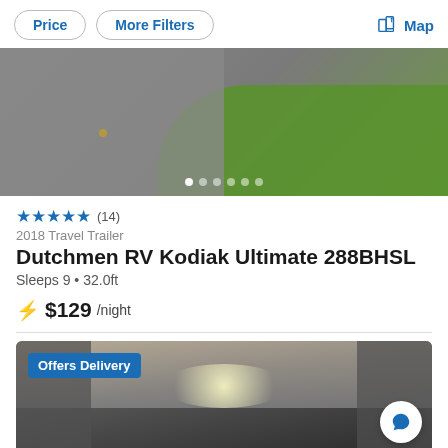Price | More Filters | Map
[Figure (photo): Aerial or outdoor photo showing pavement/road with green grass area, RV listing thumbnail]
★★★★★ (14)
2018 Travel Trailer
Dutchmen RV Kodiak Ultimate 288BHSL
Sleeps 9 • 32.0ft
⚡ $129 /night
[Figure (photo): Interior photo of an RV showing ceiling with lights; 'Offers Delivery' badge overlaid; chat button visible]